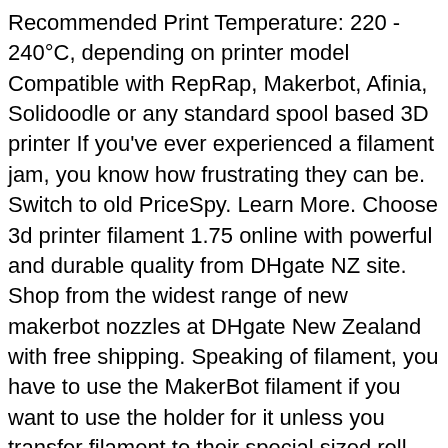Recommended Print Temperature: 220 - 240°C, depending on printer model Compatible with RepRap, Makerbot, Afinia, Solidoodle or any standard spool based 3D printer If you've ever experienced a filament jam, you know how frustrating they can be. Switch to old PriceSpy. Learn More. Choose 3d printer filament 1.75 online with powerful and durable quality from DHgate NZ site. Shop from the widest range of new makerbot nozzles at DHgate New Zealand with free shipping. Speaking of filament, you have to use the MakerBot filament if you want to use the holder for it unless you transfer filament to their special sized roll (not to mention MakerBot filament is twice as expensive with no difference that I could tell). 3D Filament Extruders, make filament from almost any plastic. For Use With MakerBot Replicator Desktop 3D Printer (5th Gen), ... Makerbot 1.75mm Translucent Orange PLA 3D Printer Filament, 200g Material Type PLA; Printing Technology FDM; Machine Specific No; Colour Translucent Orange; For Use With Replicator Mini+; See similar products in 3D Printing Materials. UPDATE 2/2018: